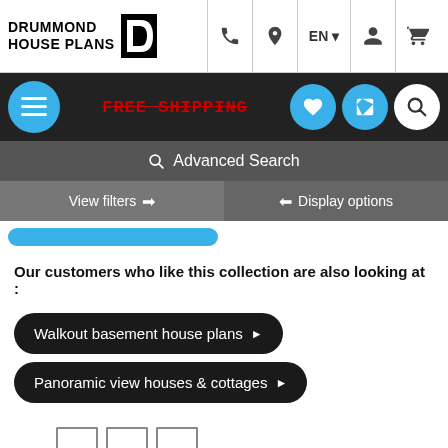[Figure (screenshot): Drummond House Plans website header with logo, navigation icons (phone, location, EN language selector, account, cart), dark navigation bar with hamburger menu, FREE SHIPPING text in red strikethrough, heart/compare/search icons, Advanced Search bar, View filters and Display options buttons, partially visible blue button, 'Our customers who like this collection are also looking at:' text, two dark pill-shaped buttons for 'Walkout basement house plans' and 'Panoramic view houses & cottages', and partial pagination row at bottom]